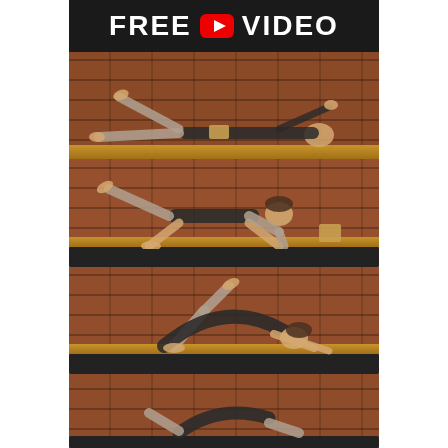FREE ▶ VIDEO
[Figure (photo): Collage of four yoga/exercise panels showing a woman performing different poses against a brick wall background. Top panel: side-lying leg raise. Second panel: bird-dog pose on all fours on a dark yoga mat. Third panel: bridge or wheel-like pose on yoga mat. Fourth panel (partial): another yoga pose, cropped at bottom.]